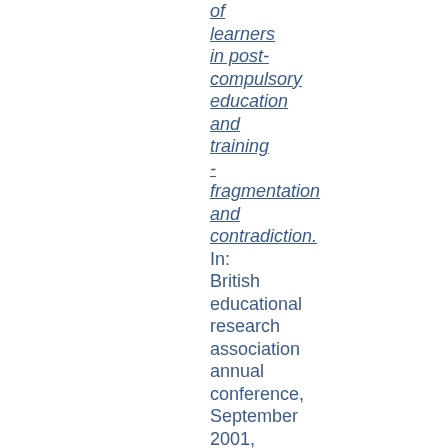of learners in post-compulsory education and training - fragmentation and contradiction. In: British educational research association annual conference, September 2001, University